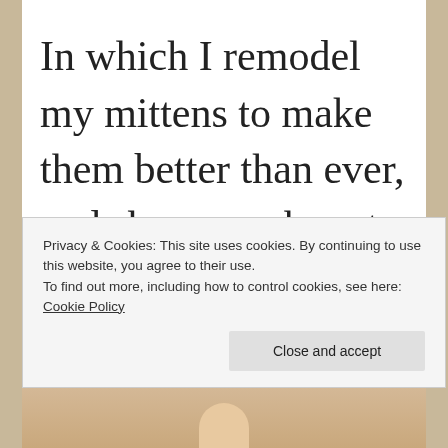In which I remodel my mittens to make them better than ever, and show you how to calculate shrinkage when
Privacy & Cookies: This site uses cookies. By continuing to use this website, you agree to their use.
To find out more, including how to control cookies, see here: Cookie Policy
Close and accept